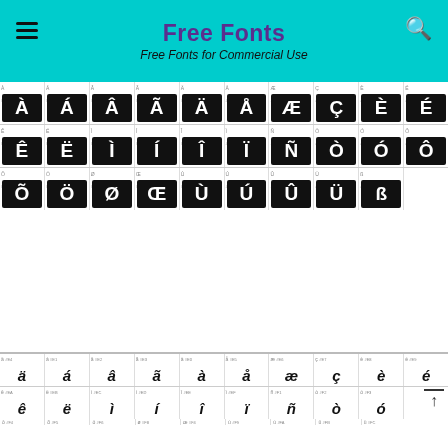Free Fonts - Free Fonts for Commercial Use
[Figure (screenshot): Character map grid showing uppercase accented Latin characters in black tiles (white text on black background): À Á Â Ã Ä Å Æ Ç È É Ê Ë Ì Í Î Ï Ñ Ò Ó Ô Õ Ö Ø Œ Ù Ú Û Ü ß with unicode code points]
[Figure (screenshot): Character map grid showing lowercase accented Latin characters in white background italic style: ä á â ã à å æ ç è é ê ë ì í î ï ñ ò ó ô õ ö ø œ ù ú û ü with unicode code points]